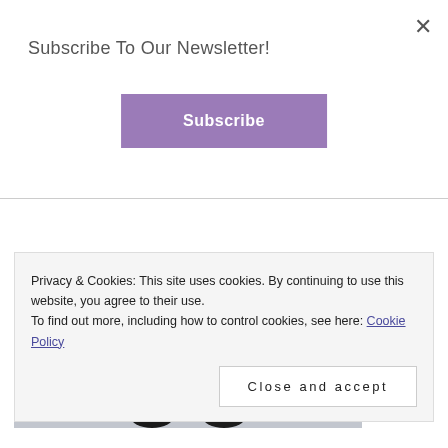Subscribe To Our Newsletter!
Subscribe
[Figure (photo): Close-up photo of snowy/icy ground with two dark boot tips visible at the bottom of the frame]
Privacy & Cookies: This site uses cookies. By continuing to use this website, you agree to their use.
To find out more, including how to control cookies, see here: Cookie Policy
Close and accept